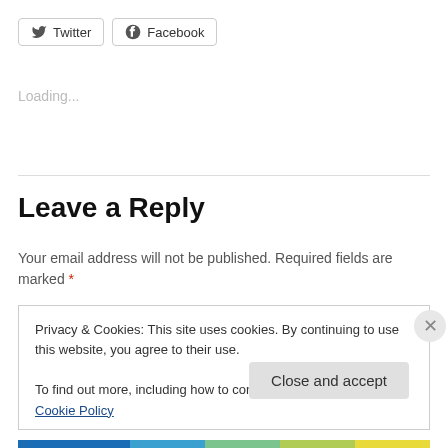[Figure (other): Twitter share button with bird icon]
[Figure (other): Facebook share button with F icon]
Loading...
Leave a Reply
Your email address will not be published. Required fields are marked *
Privacy & Cookies: This site uses cookies. By continuing to use this website, you agree to their use.
To find out more, including how to control cookies, see here: Cookie Policy
Close and accept